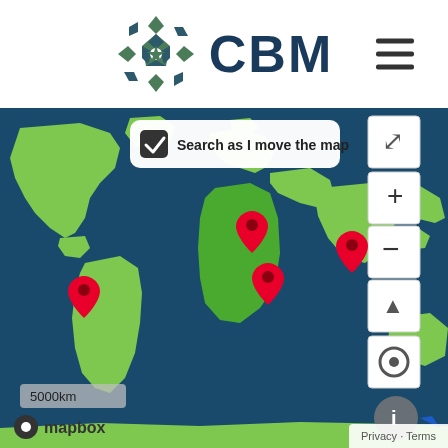[Figure (logo): CBM Canada logo with geometric diamond/snowflake pattern in green and dark teal, followed by CBM text in dark navy blue, and a hamburger menu icon to the right]
[Figure (map): Mapbox world map showing dark teal oceans and light green landmasses. Four red map pin markers are visible: one over South America (Brazil area), one over the Middle East/Turkey region, one over East Africa/Horn of Africa, and one over South Asia/India region. A search bar at top reads 'Search as I move the map' with a checked checkbox. Map controls (+, -, compass, locate) on the right. Scale bar showing 5000km at bottom left. Mapbox logo at bottom left. Privacy/Terms link at bottom right.]